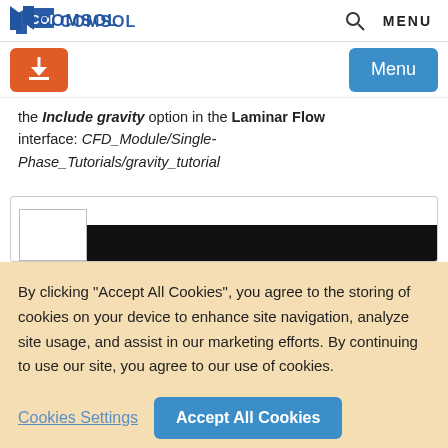COMSOL  Q  MENU
[Figure (screenshot): Orange download button and blue Menu button]
the Include gravity option in the Laminar Flow interface: CFD_Module/Single-Phase_Tutorials/gravity_tutorial
[Figure (screenshot): Partial screenshot showing a white rectangle and a black bar]
By clicking “Accept All Cookies”, you agree to the storing of cookies on your device to enhance site navigation, analyze site usage, and assist in our marketing efforts. By continuing to use our site, you agree to our use of cookies.
Cookies Settings  Accept All Cookies